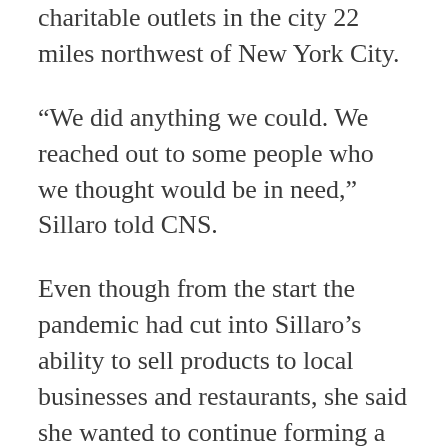charitable outlets in the city 22 miles northwest of New York City.
“We did anything we could. We reached out to some people who we thought would be in need,” Sillaro told CNS.
Even though from the start the pandemic had cut into Sillaro’s ability to sell products to local businesses and restaurants, she said she wanted to continue forming a “strong bond with our community.”
The diocese reported that at the peak of the pandemic Sillaro was providing 10,000 individual bakery products weekly.